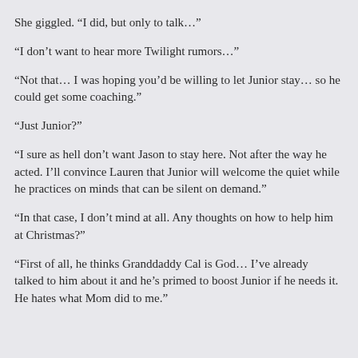She giggled. “I did, but only to talk…”
“I don’t want to hear more Twilight rumors…”
“Not that… I was hoping you’d be willing to let Junior stay… so he could get some coaching.”
“Just Junior?”
“I sure as hell don’t want Jason to stay here. Not after the way he acted. I’ll convince Lauren that Junior will welcome the quiet while he practices on minds that can be silent on demand.”
“In that case, I don’t mind at all. Any thoughts on how to help him at Christmas?”
“First of all, he thinks Granddaddy Cal is God… I’ve already talked to him about it and he’s primed to boost Junior if he needs it. He hates what Mom did to me.”